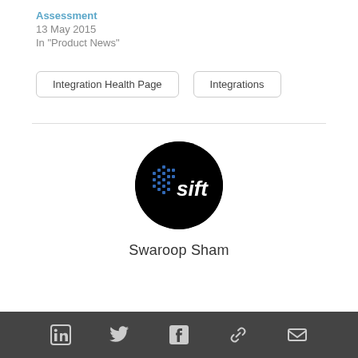13 May 2015
In "Product News"
Integration Health Page
Integrations
[Figure (logo): Sift logo: black circle with blue dot-grid pattern and white 'sift' text]
Swaroop Sham
LinkedIn, Twitter, Facebook, Link, Email social icons